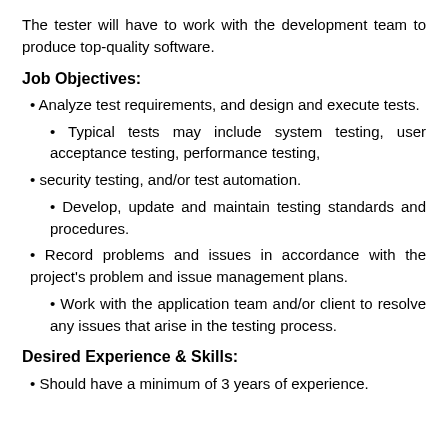The tester will have to work with the development team to produce top-quality software.
Job Objectives:
Analyze test requirements, and design and execute tests.
Typical tests may include system testing, user acceptance testing, performance testing,
security testing, and/or test automation.
Develop, update and maintain testing standards and procedures.
Record problems and issues in accordance with the project's problem and issue management plans.
Work with the application team and/or client to resolve any issues that arise in the testing process.
Desired Experience & Skills:
Should have a minimum of 3 years of experience.